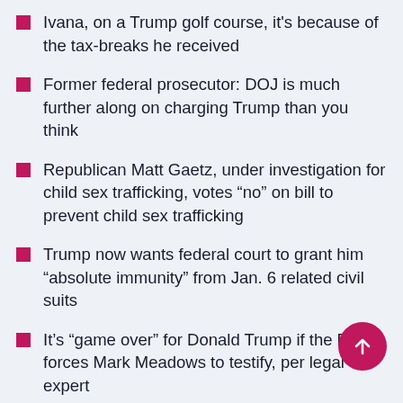Ivana, on a Trump golf course, it's because of the tax-breaks he received
Former federal prosecutor: DOJ is much further along on charging Trump than you think
Republican Matt Gaetz, under investigation for child sex trafficking, votes “no” on bill to prevent child sex trafficking
Trump now wants federal court to grant him “absolute immunity” from Jan. 6 related civil suits
It’s “game over” for Donald Trump if the DOJ forces Mark Meadows to testify, per legal expert
New info suggests Trump’s Secret Service detail supported Jan. 6 MAGA rioters
After Capitol rioter told judge he regretted Jan. 6, the next day bragged the opposite to conservative radio host
Although Fox News started airing the Jan. 6